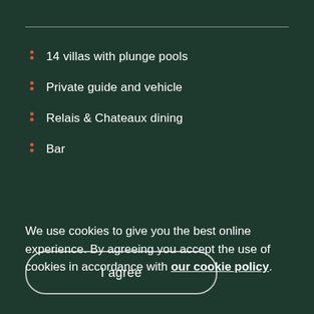14 villas with plunge pools
Private guide and vehicle
Relais & Chateaux dining
Bar
We use cookies to give you the best online experience. By agreeing you accept the use of cookies in accordance with our cookie policy.
I agree